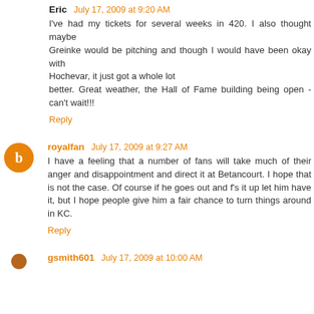Eric — July 17, 2009 at 9:20 AM
I've had my tickets for several weeks in 420. I also thought maybe Greinke would be pitching and though I would have been okay with Hochevar, it just got a whole lot better. Great weather, the Hall of Fame building being open - can't wait!!!
Reply
royalfan — July 17, 2009 at 9:27 AM
I have a feeling that a number of fans will take much of their anger and disappointment and direct it at Betancourt. I hope that is not the case. Of course if he goes out and f's it up let him have it, but I hope people give him a fair chance to turn things around in KC.
Reply
gsmith601 — July 17, 2009 at 10:00 AM